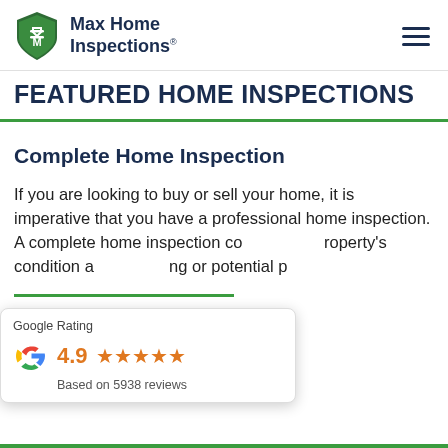[Figure (logo): Max Home Inspections logo with green shield/checkmark icon and company name]
FEATURED HOME INSPECTIONS
Complete Home Inspection
If you are looking to buy or sell your home, it is imperative that you have a professional home inspection. A complete home inspection covers your property's condition and any existing or potential problems.
[Figure (infographic): Google Rating popup showing 4.9 stars based on 5938 reviews with Google G logo]